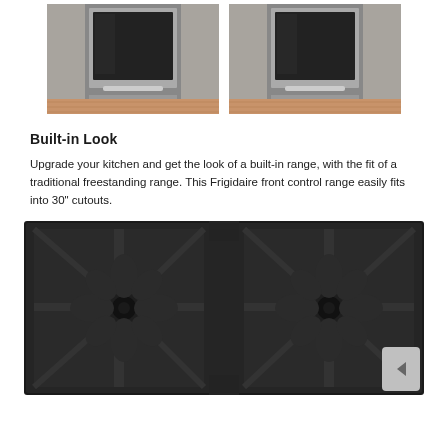[Figure (photo): Two side-by-side photos of a stainless steel freestanding range installed in a kitchen, showing the built-in look with cabinet surrounds and wood floor]
Built-in Look
Upgrade your kitchen and get the look of a built-in range, with the fit of a traditional freestanding range. This Frigidaire front control range easily fits into 30" cutouts.
[Figure (photo): Close-up top-down view of a black gas cooktop grate showing two large cast-iron burner grates with a spider/star design]